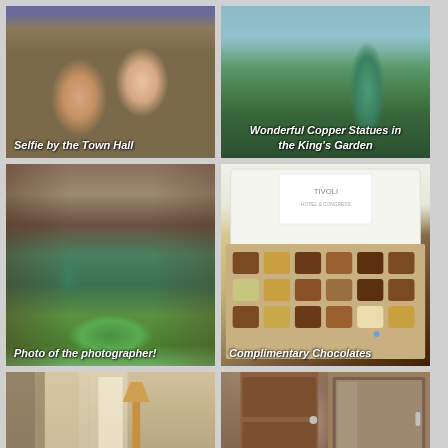[Figure (photo): Selfie photo of a couple (woman and man) in front of a large brick building - the Town Hall]
[Figure (photo): A green/teal copper statue of a woman in a long dress in King's Garden, Copenhagen, with trees and sky behind]
[Figure (photo): Garden scene with a Rodin-style sculpture and colorful flower beds; a person crouching to photograph in foreground]
[Figure (photo): An open box of Tivoli branded chocolates/truffles with a white card on top]
[Figure (photo): Hotel room interior showing curtains and a floor lamp near a window]
[Figure (photo): Hotel room interior showing wooden door or wardrobe with metal handles]